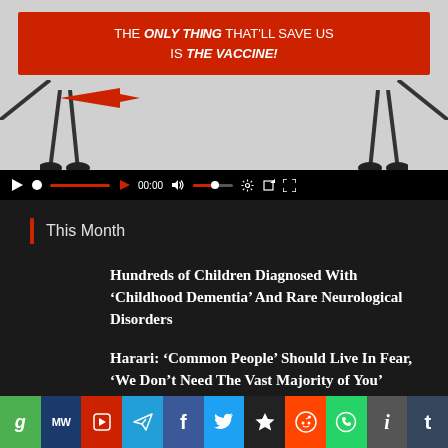[Figure (screenshot): Video player showing cartoon/illustration with red banner reading 'THE ONLY THING THAT'LL SAVE US IS THE VACCINE!' with video controls bar showing 00:00 timestamp]
This Month
Hundreds of Children Diagnosed With ‘Childhood Dementia’ And Rare Neurological Disorders
Harari: ‘Common People’ Should Live In Fear, ‘We Don’t Need The Vast Majority of You’
[Figure (infographic): Social sharing bar with icons for Gab, MeWe, Parler, Telegram, Facebook, Twitter, Fark, Reddit, WhatsApp, Instapaper, Tumblr]